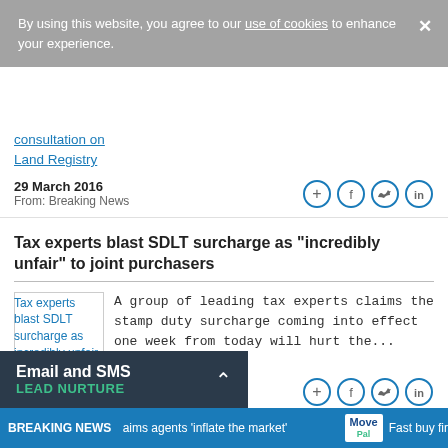By using this website, you agree to our use of cookies to enhance your experience.
consultation on Land Registry
29 March 2016
From: Breaking News
Tax experts blast SDLT surcharge as "incredibly unfair" to joint purchasers
[Figure (illustration): Article thumbnail image for 'Tax experts blast SDLT surcharge as incredibly unfair']
A group of leading tax experts claims the stamp duty surcharge coming into effect one week from today will hurt the...
25 March 2016
From: Breaking News
Email and SMS
LEAD NURTURE
BREAKING NEWS   aims agents 'inflate the market'   Move Pal   Fast buy fir